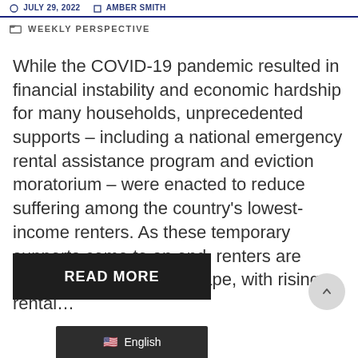WEEKLY PERSPECTIVE
While the COVID-19 pandemic resulted in financial instability and economic hardship for many households, unprecedented supports – including a national emergency rental assistance program and eviction moratorium – were enacted to reduce suffering among the country's lowest-income renters. As these temporary supports come to an end, renters are facing a troubling landscape, with rising rental...
READ MORE
English